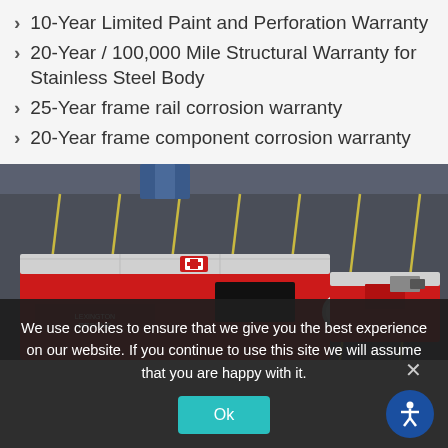10-Year Limited Paint and Perforation Warranty
20-Year / 100,000 Mile Structural Warranty for Stainless Steel Body
25-Year frame rail corrosion warranty
20-Year frame component corrosion warranty
[Figure (photo): Aerial view of a red ambulance/emergency vehicle with stainless steel body in a parking lot with yellow lines, accompanied by a smaller red vehicle]
We use cookies to ensure that we give you the best experience on our website. If you continue to use this site we will assume that you are happy with it.